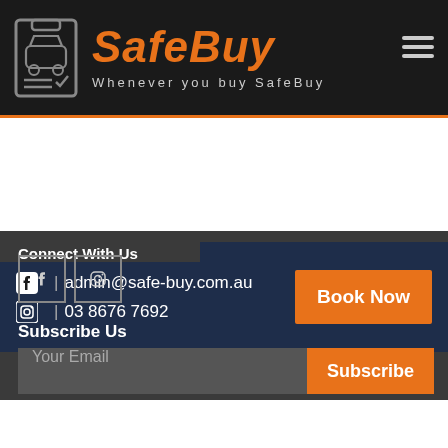SafeBuy — Whenever you buy SafeBuy
admin@safe-buy.com.au | 03 8676 7692 | Book Now
Connect With Us
Subscribe Us
Your Email | Subscribe
Privacy Policy | Terms and Conditions | Booking & Refund Policy
Copyright ©2022 SafeBuy. All Rights Reserved. Developed by E-Touch Base Digital Solutions